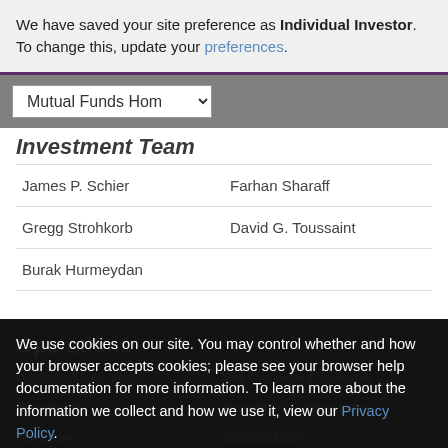We have saved your site preference as Individual Investor. To change this, update your preferences.
Investment Team
| James P. Schier | Farhan Sharaff |
| Gregg Strohkorb | David G. Toussaint |
| Burak Hurmeydan |  |
Operations
We use cookies on our site. You may control whether and how your browser accepts cookies; please see your browser help documentation for more information. To learn more about the information we collect and how we use it, view our Privacy Policy.
Distribution from Advisor: See fund detail if applicable.
Benchmark: Russell 2000 Value Index
Telephone: 800.820.0888
Trading Hours: Phone: 9:30 AM - 4:00 PM ET